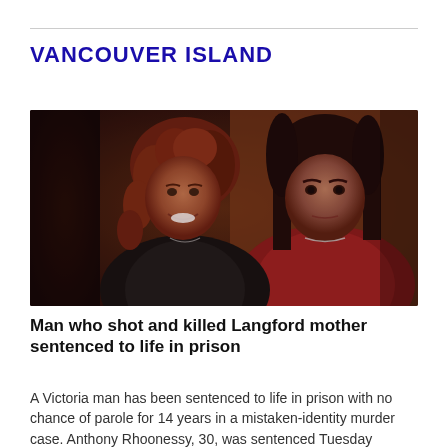VANCOUVER ISLAND
[Figure (photo): Two women posing together for a close-up selfie-style photo. The woman on the left has reddish-brown curly hair and is wearing a black top; she is smiling. The woman on the right has dark straight hair, is wearing a red top with a necklace, and has a more serious expression. The background is dark/warm-toned.]
Man who shot and killed Langford mother sentenced to life in prison
A Victoria man has been sentenced to life in prison with no chance of parole for 14 years in a mistaken-identity murder case. Anthony Rhoonessy, 30, was sentenced Tuesday